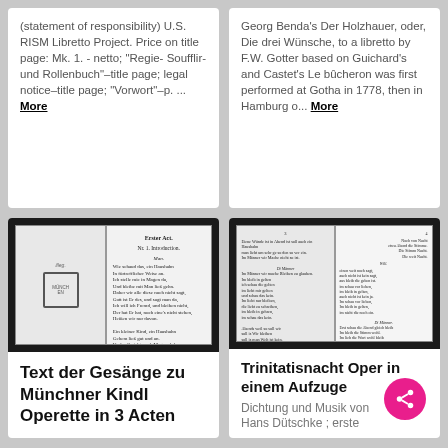(statement of responsibility) U.S. RISM Libretto Project. Price on title page: Mk. 1. - netto; "Regie- Soufflir- und Rollenbuch"–title page; legal notice–title page; "Vorwort"–p. ... More
Georg Benda's Der Holzhauer, oder, Die drei Wünsche, to a libretto by F.W. Gotter based on Guichard's and Castet's Le bûcheron was first performed at Gotha in 1778, then in Hamburg o... More
[Figure (photo): Scanned open book showing two pages: left page has a stamp/seal mark, right page shows text in Gothic/Fraktur script with title 'Erster Act' and verse lyrics]
[Figure (photo): Scanned open book showing two pages with dense German text in old typeface, libretto text with character names and dialogue]
Text der Gesänge zu Münchner Kindl Operette in 3 Acten
Trinitatisnacht Oper in einem Aufzuge
Dichtung und Musik von Hans Dütschke ; erste